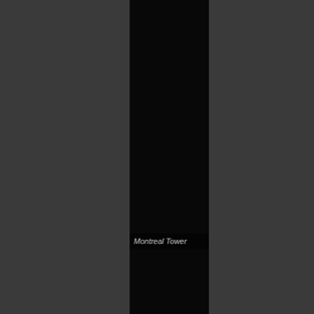[Figure (photo): A dark architectural photograph showing a tall narrow vertical black strip (likely the Montreal Tower structure) centered against a dark gray background, with a smaller black rectangle below it. The image caption reads 'Montreal Tower'.]
Montreal Tower